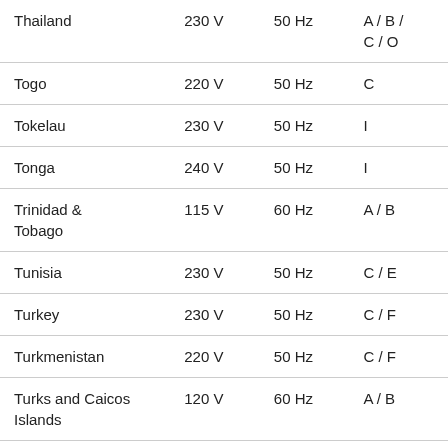| Country | Voltage | Frequency | Plug Type |
| --- | --- | --- | --- |
| Thailand | 230 V | 50 Hz | A / B / C / O |
| Togo | 220 V | 50 Hz | C |
| Tokelau | 230 V | 50 Hz | I |
| Tonga | 240 V | 50 Hz | I |
| Trinidad & Tobago | 115 V | 60 Hz | A / B |
| Tunisia | 230 V | 50 Hz | C / E |
| Turkey | 230 V | 50 Hz | C / F |
| Turkmenistan | 220 V | 50 Hz | C / F |
| Turks and Caicos Islands | 120 V | 60 Hz | A / B |
| Tuvalu | 230 V | 50 Hz | I |